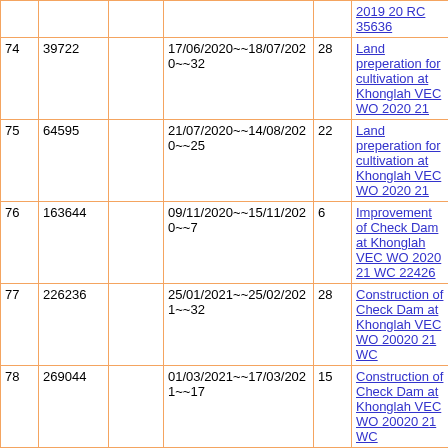| # | ID |  | Date Range | Days | Description |
| --- | --- | --- | --- | --- | --- |
|  |  |  | 2019 20 RC 35636 |  |  |
| 74 | 39722 |  | 17/06/2020~~18/07/2020~~32 | 28 | Land preperation for cultivation at Khonglah VEC WO 2020 21 |
| 75 | 64595 |  | 21/07/2020~~14/08/2020~~25 | 22 | Land preperation for cultivation at Khonglah VEC WO 2020 21 |
| 76 | 163644 |  | 09/11/2020~~15/11/2020~~7 | 6 | Improvement of Check Dam at Khonglah VEC WO 2020 21 WC 22426 |
| 77 | 226236 |  | 25/01/2021~~25/02/2021~~32 | 28 | Construction of Check Dam at Khonglah VEC WO 20020 21 WC |
| 78 | 269044 |  | 01/03/2021~~17/03/2021~~17 | 15 | Construction of Check Dam at Khonglah VEC WO 20020 21 WC |
| 79 | 73372 |  | 13/09/2021~~22/09/2021~~10 | 9 | Construction of Water Drinking Source In Kor Wah Sohrai with MBDA at Khanglah Vec WO 2021 22 |
| 80 | 112907 |  | 01/11/2021~~02/12/2021~~32 | 28 | Construction of |